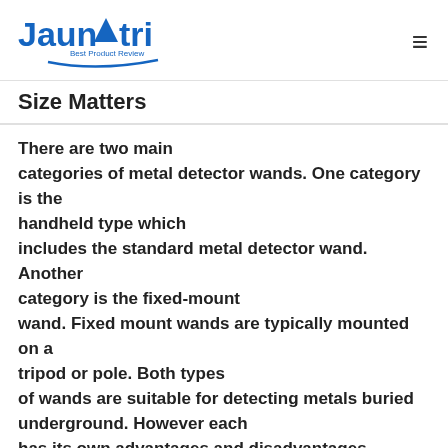Jaunatri - Best Product Review
Size Matters
There are two main categories of metal detector wands. One category is the handheld type which includes the standard metal detector wand. Another category is the fixed-mount wand. Fixed mount wands are typically mounted on a tripod or pole. Both types of wands are suitable for detecting metals buried underground. However each has its own advantages and disadvantages. Handheld metal detector wands are portable and easy to carry around. However they are limited in terms of